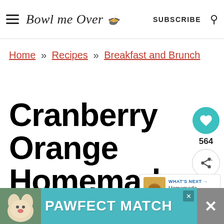Bowl me Over — SUBSCRIBE
Home » Recipes » Breakfast and Brunch
Cranberry Orange Homemade Granola
[Figure (other): Heart (save) icon button in teal circle, count 564, and share button]
[Figure (other): WHAT'S NEXT promo box: Homemade Cream Chee...]
[Figure (other): PAWFECT MATCH advertisement banner with dog image]